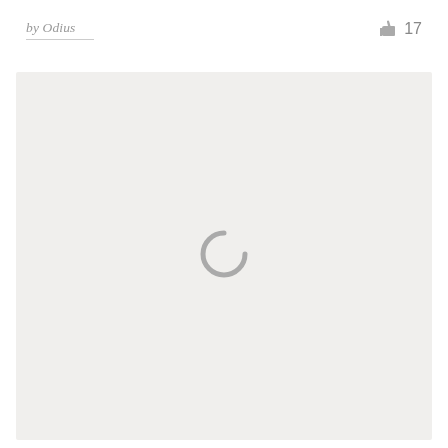by Odius
17
[Figure (screenshot): A large light gray content area showing a loading spinner (partial circle arc) centered within it, indicating content is still loading.]